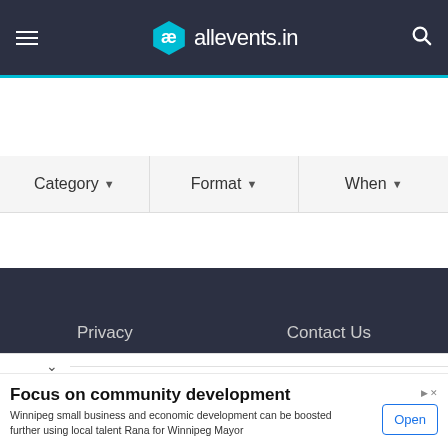[Figure (screenshot): allevents.in navigation bar with hamburger menu, logo, and search icon on dark background]
Category ▾   Format ▾   When ▾
Privacy   Contact Us
© Copyright 2022. All Rights Reserved. Powered by Amitech.co
🏠 allevents.in › Winnipeg › Art
Focus on community development
Winnipeg small business and economic development can be boosted further using local talent Rana for Winnipeg Mayor